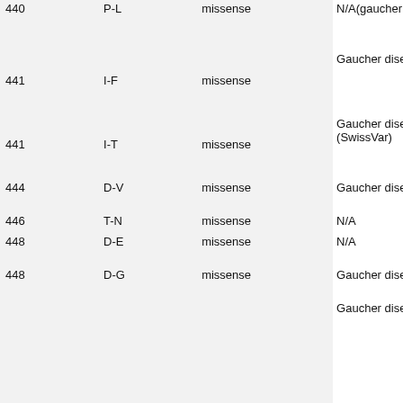| Position | Mutation | Type | Disease | rs |
| --- | --- | --- | --- | --- |
| 440 | P-L | missense | N/A(gaucher disease type 1 (SwissVar)) | r s... |
| 441 | I-F | missense | Gaucher disease 3; gaucher disease (SwissVar) | C N... |
| 441 | I-T | missense | Gaucher disease; N/A; gaucher disease (SwissVar) | C r s... r s... |
| 444 | D-V | missense | Gaucher disease | C... |
| 446 | T-N | missense | N/A | r s... |
| 448 | D-E | missense | N/A | r s... |
| 448 | D-G | missense | Gaucher disease | C... |
|  |  |  | Gaucher disease 2; gaucher... |  |